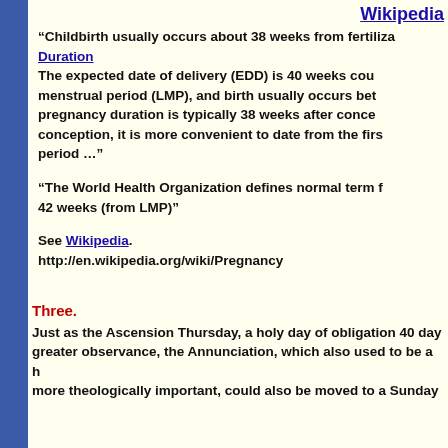Wikipedia
“Childbirth usually occurs about 38 weeks from fertiliza… Duration The expected date of delivery (EDD) is 40 weeks cou… menstrual period (LMP), and birth usually occurs bet… pregnancy duration is typically 38 weeks after conce… conception, it is more convenient to date from the firs… period …”
“The World Health Organization defines normal term f… 42 weeks (from LMP)”
See Wikipedia. http://en.wikipedia.org/wiki/Pregnancy
Three.
Just as the Ascension Thursday, a holy day of obligation 40 day… greater observance, the Annunciation, which also used to be a h… more theologically important, could also be moved to a Sunday…